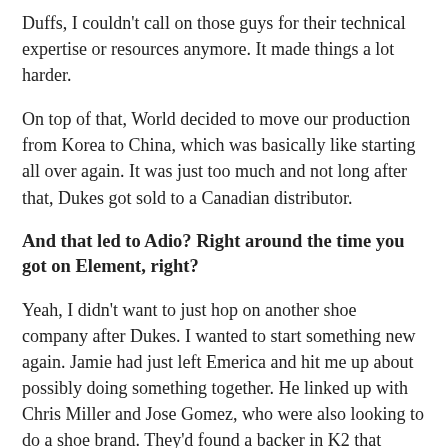Duffs, I couldn't call on those guys for their technical expertise or resources anymore. It made things a lot harder.
On top of that, World decided to move our production from Korea to China, which was basically like starting all over again. It was just too much and not long after that, Dukes got sold to a Canadian distributor.
And that led to Adio? Right around the time you got on Element, right?
Yeah, I didn't want to just hop on another shoe company after Dukes. I wanted to start something new again. Jamie had just left Emerica and hit me up about possibly doing something together. He linked up with Chris Miller and Jose Gomez, who were also looking to do a shoe brand. They'd found a backer in K2 that would float the bills while we handled the design and the legwork. No ownership opportunities, but that was good enough for us at the time. We just wanted to make some shoes.
[Figure (photo): Partial view of a Skateboarding magazine cover showing the title 'Skateboarding' in bold yellow text on a dark background.]